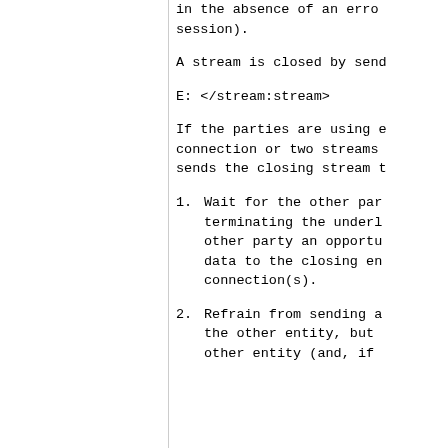in the absence of an error session).
A stream is closed by send
E: </stream:stream>
If the parties are using e connection or two streams sends the closing stream t
1. Wait for the other par terminating the underl other party an opportu data to the closing en connection(s).
2. Refrain from sending a the other entity, but other entity (and, if